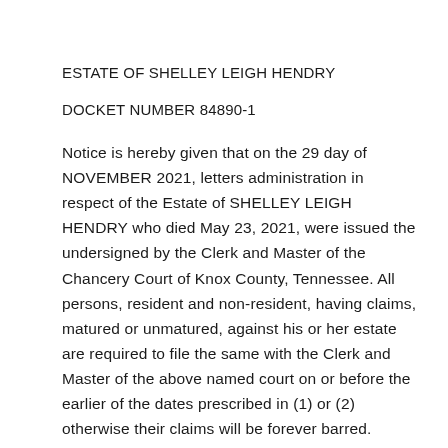ESTATE OF SHELLEY LEIGH HENDRY
DOCKET NUMBER 84890-1
Notice is hereby given that on the 29 day of NOVEMBER 2021, letters administration in respect of the Estate of SHELLEY LEIGH HENDRY who died May 23, 2021, were issued the undersigned by the Clerk and Master of the Chancery Court of Knox County, Tennessee. All persons, resident and non-resident, having claims, matured or unmatured, against his or her estate are required to file the same with the Clerk and Master of the above named court on or before the earlier of the dates prescribed in (1) or (2) otherwise their claims will be forever barred.